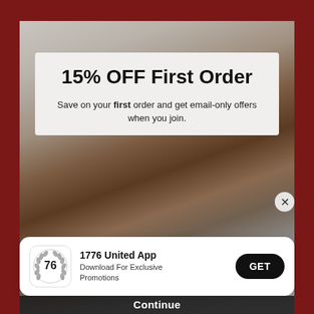15% OFF First Order
Save on your first order and get email-only offers when you join.
[Figure (photo): A dog resting its chin on a 1776 United branded bag, with a gray curtain background]
1776 United App
Download For Exclusive Promotions
GET
Continue